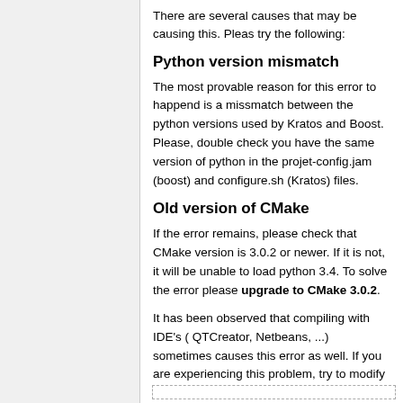There are several causes that may be causing this. Pleas try the following:
Python version mismatch
The most provable reason for this error to happend is a missmatch between the python versions used by Kratos and Boost. Please, double check you have the same version of python in the projet-config.jam (boost) and configure.sh (Kratos) files.
Old version of CMake
If the error remains, please check that CMake version is 3.0.2 or newer. If it is not, it will be unable to load python 3.4. To solve the error please upgrade to CMake 3.0.2.
It has been observed that compiling with IDE's ( QTCreator, Netbeans, ...) sometimes causes this error as well. If you are experiencing this problem, try to modify the configure.sh script and replace cmake by the absolute path of CMake 3.0.2:
[Figure (other): A dashed-border code box at the bottom of the page]